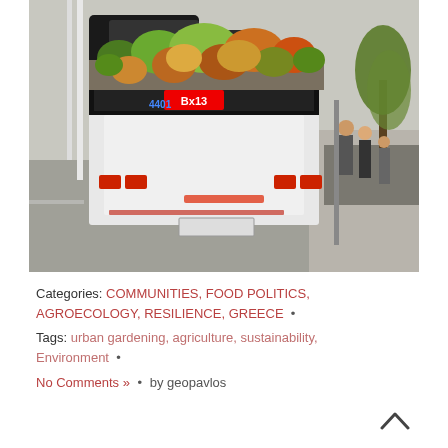[Figure (photo): A city bus (number 4401, route Bx13) viewed from behind, with a lush rooftop garden of colorful succulents and plants. People are boarding the bus at a stop. Cars and trees are visible in the background.]
Categories: COMMUNITIES, FOOD POLITICS, AGROECOLOGY, RESILIENCE, GREECE  •
Tags: urban gardening, agriculture, sustainability, Environment  •
No Comments »  •  by geopavlos